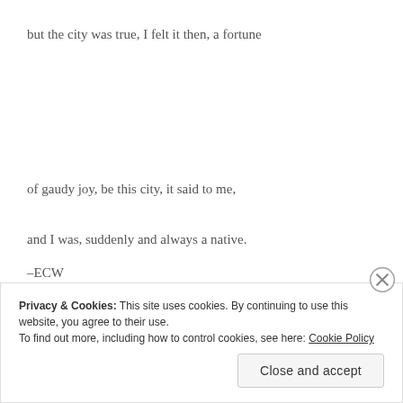but the city was true, I felt it then, a fortune
of gaudy joy, be this city, it said to me,
and I was, suddenly and always a native.
–ECW
Privacy & Cookies: This site uses cookies. By continuing to use this website, you agree to their use.
To find out more, including how to control cookies, see here: Cookie Policy
Close and accept